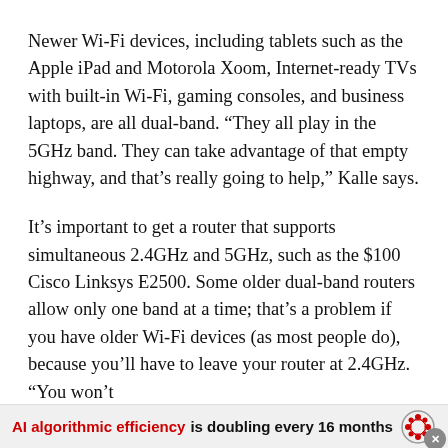Newer Wi-Fi devices, including tablets such as the Apple iPad and Motorola Xoom, Internet-ready TVs with built-in Wi-Fi, gaming consoles, and business laptops, are all dual-band. “They all play in the 5GHz band. They can take advantage of that empty highway, and that’s really going to help,” Kalle says.
It’s important to get a router that supports simultaneous 2.4GHz and 5GHz, such as the $100 Cisco Linksys E2500. Some older dual-band routers allow only one band at a time; that’s a problem if you have older Wi-Fi devices (as most people do), because you’ll have to leave your router at 2.4GHz. “You won’t
AI algorithmic efficiency is doubling every 16 months